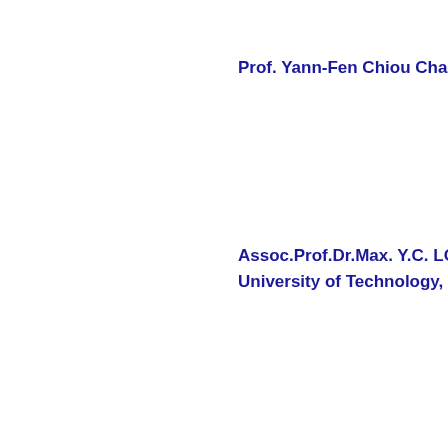Prof. Yann-Fen Chiou Chao,
Assoc.Prof.Dr.Max. Y.C. LO, University of Technology, Tai